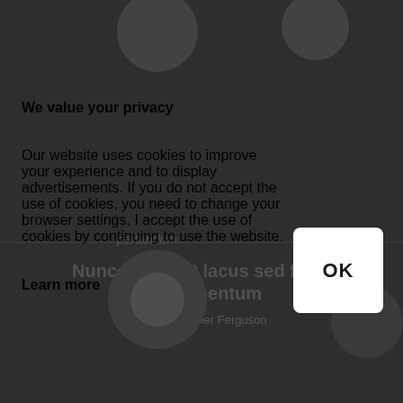We value your privacy
Our website uses cookies to improve your experience and to display advertisements. If you do not accept the use of cookies, you need to change your browser settings. I accept the use of cookies by continuing to use the website.
Learn more
[Figure (screenshot): OK button - white rounded rectangle with bold black OK text, positioned bottom-right]